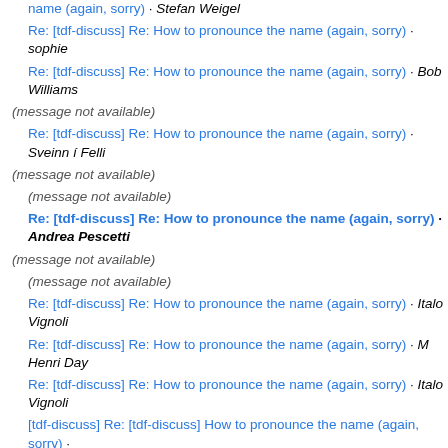Re: [tdf-discuss] Re: How to pronounce the name (again, sorry) · Stefan Weigel
Re: [tdf-discuss] Re: How to pronounce the name (again, sorry) · sophie
Re: [tdf-discuss] Re: How to pronounce the name (again, sorry) · Bob Williams
(message not available)
Re: [tdf-discuss] Re: How to pronounce the name (again, sorry) · Sveinn í Felli
(message not available)
(message not available)
Re: [tdf-discuss] Re: How to pronounce the name (again, sorry) · Andrea Pescetti
(message not available)
(message not available)
Re: [tdf-discuss] Re: How to pronounce the name (again, sorry) · Italo Vignoli
Re: [tdf-discuss] Re: How to pronounce the name (again, sorry) · M Henri Day
Re: [tdf-discuss] Re: How to pronounce the name (again, sorry) · Italo Vignoli
[tdf-discuss] Re: [tdf-discuss] How to pronounce the name (again, sorry) ·